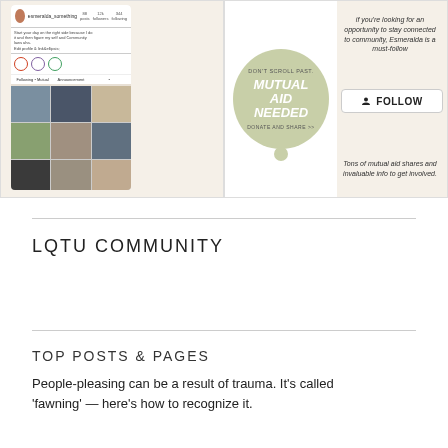[Figure (screenshot): Instagram profile screenshot mockup showing a social media account with avatar, stats, bio, and post grid, alongside text overlays. Left side shows an Instagram-style profile page. Right side shows follow button with text 'if you're looking for an opportunity to stay connected to community, Esmeralda is a must-follow' and 'Tons of mutual aid shares and invaluable info to get involved.' Center shows a speech bubble graphic with 'DON'T SCROLL PAST. MUTUAL AID NEEDED DONATE AND SHARE >>']
LQTU COMMUNITY
TOP POSTS & PAGES
People-pleasing can be a result of trauma. It's called 'fawning' — here's how to recognize it.